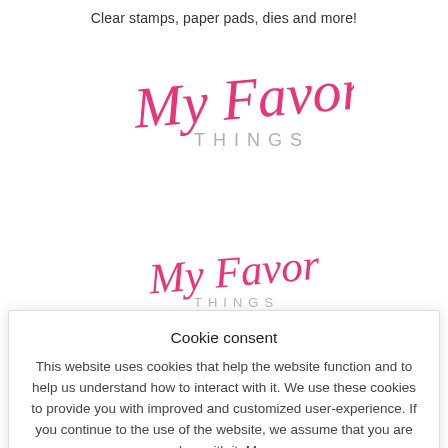Clear stamps, paper pads, dies and more!
[Figure (logo): My Favorite Things logo (large) — cursive pink 'My Favorite' script with gray 'THINGS' text below]
[Figure (logo): My Favorite Things logo (small) — cursive pink 'My Favorite' script with gray 'THINGS' text below]
[Figure (illustration): Three small gray icons: a globe/ball, a triangle/mountain, and a layered cake/stacked shapes]
Cookie consent
This website uses cookies that help the website function and to help us understand how to interact with it. We use these cookies to provide you with improved and customized user-experience. If you continue to the use of the website, we assume that you are okay with it. More